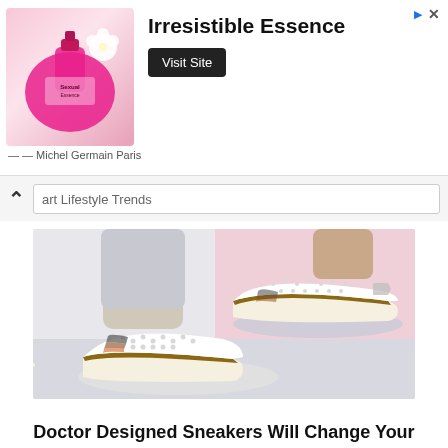[Figure (photo): Advertisement banner for 'Irresistible Essence' by Michel Germain Paris showing a pink perfume bottle with white flowers]
Irresistible Essence
Visit Site
— — Michel Germain Paris
art Lifestyle Trends
[Figure (photo): Photo of a person wearing white slip-on sneakers with perforated design, brown leather trim, striped elastic side panel, and stitched espadrille-style sole, shown against a pink background]
Doctor Designed Sneakers Will Change Your